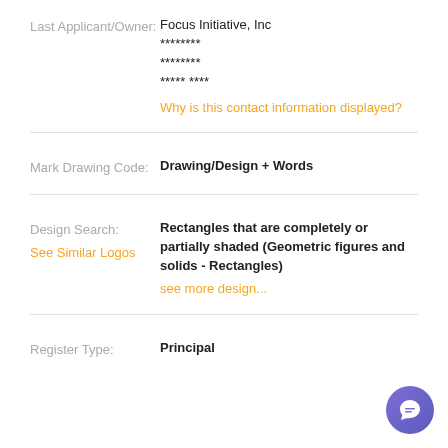Last Applicant/Owner:
Focus Initiative, Inc
********
********
***** ****
Why is this contact information displayed?
Mark Drawing Code:
Drawing/Design + Words
Design Search:
See Similar Logos
Rectangles that are completely or partially shaded (Geometric figures and solids - Rectangles)
see more design...
Register Type:
Principal